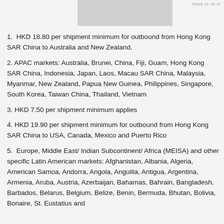[Figure (other): Partial image or logo at top of page, grayed out rectangle]
1.  HKD 18.80 per shipment minimum for outbound from Hong Kong SAR China to Australia and New Zealand.
2. APAC markets: Australia, Brunei, China, Fiji, Guam, Hong Kong SAR China, Indonesia, Japan, Laos, Macau SAR China, Malaysia, Myanmar, New Zealand, Papua New Guinea, Philippines, Singapore, South Korea, Taiwan China, Thailand, Vietnam
3. HKD 7.50 per shipment minimum applies
4. HKD 19.90 per shipment minimum for outbound from Hong Kong SAR China to USA, Canada, Mexico and Puerto Rico
5.  Europe, Middle East/ Indian Subcontinent/ Africa (MEISA) and other specific Latin American markets: Afghanistan, Albania, Algeria, American Samoa, Andorra, Angola, Anguilla, Antigua, Argentina, Armenia, Aruba, Austria, Azerbaijan, Bahamas, Bahrain, Bangladesh, Barbados, Belarus, Belgium, Belize, Benin, Bermuda, Bhutan, Bolivia, Bonaire, St. Eustatius and